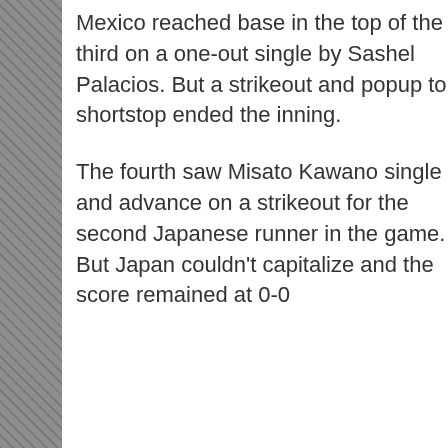Mexico reached base in the top of the third on a one-out single by Sashel Palacios. But a strikeout and popup to shortstop ended the inning.
The fourth saw Misato Kawano single and advance on a strikeout for the second Japanese runner in the game. But Japan couldn't capitalize and the score remained at 0-0